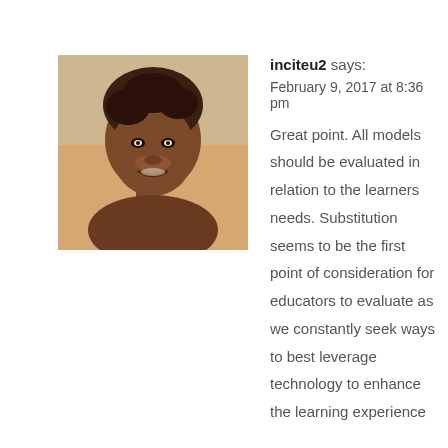[Figure (photo): Profile photo of a smiling woman]
inciteu2 says:
February 9, 2017 at 8:36 pm
Great point. All models should be evaluated in relation to the learners needs. Substitution seems to be the first point of consideration for educators to evaluate as we constantly seek ways to best leverage technology to enhance the learning experience